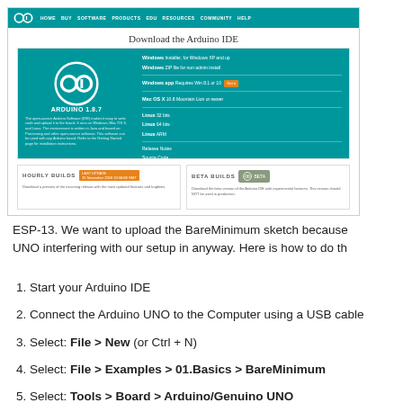[Figure (screenshot): Screenshot of the Arduino website showing the Download the Arduino IDE page with version 1.8.7, download links for Windows, Mac OS X, and Linux, plus Hourly Builds and Beta Builds sections.]
ESP-13. We want to upload the BareMinimum sketch because UNO interfering with our setup in anyway. Here is how to do th
1. Start your Arduino IDE
2. Connect the Arduino UNO to the Computer using a USB cable
3. Select: File > New (or Ctrl + N)
4. Select: File > Examples > 01.Basics > BareMinimum
5. Select: Tools > Board > Arduino/Genuino UNO